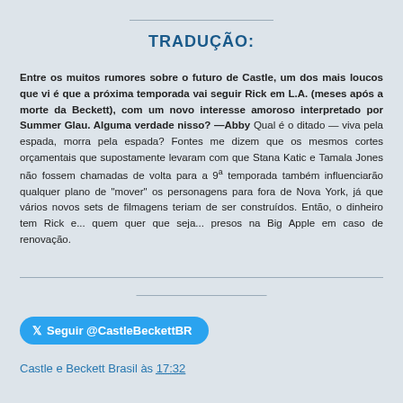TRADUÇÃO:
Entre os muitos rumores sobre o futuro de Castle, um dos mais loucos que vi é que a próxima temporada vai seguir Rick em L.A. (meses após a morte da Beckett), com um novo interesse amoroso interpretado por Summer Glau. Alguma verdade nisso? —Abby Qual é o ditado — viva pela espada, morra pela espada? Fontes me dizem que os mesmos cortes orçamentais que supostamente levaram com que Stana Katic e Tamala Jones não fossem chamadas de volta para a 9ª temporada também influenciarão qualquer plano de "mover" os personagens para fora de Nova York, já que vários novos sets de filmagens teriam de ser construídos. Então, o dinheiro tem Rick e... quem quer que seja... presos na Big Apple em caso de renovação.
Seguir @CastleBeckettBR
Castle e Beckett Brasil às 17:32